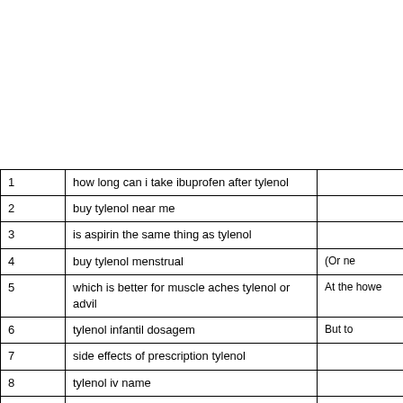|  |  |  |
| --- | --- | --- |
| 1 | how long can i take ibuprofen after tylenol |  |
| 2 | buy tylenol near me |  |
| 3 | is aspirin the same thing as tylenol |  |
| 4 | buy tylenol menstrual | (Or ne |
| 5 | which is better for muscle aches tylenol or advil | At the howe |
| 6 | tylenol infantil dosagem | But to |
| 7 | side effects of prescription tylenol |  |
| 8 | tylenol iv name |  |
| 9 | reddit tylenol scholarship | Doit is |
| 10 | how to get tylenol pm out of your system | prohib Active |
| 11 | is it safe to take tylenol pm when pregnant |  |
| 12 | can you take tylenol cold and sinus while pregnant | The c were |
| 13 | tylenol heat patch |  |